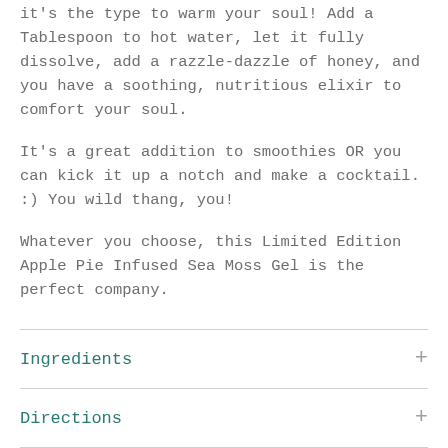it's the type to warm your soul! Add a Tablespoon to hot water, let it fully dissolve, add a razzle-dazzle of honey, and you have a soothing, nutritious elixir to comfort your soul.
It's a great addition to smoothies OR you can kick it up a notch and make a cocktail. :) You wild thang, you!
Whatever you choose, this Limited Edition Apple Pie Infused Sea Moss Gel is the perfect company.
Ingredients
Directions